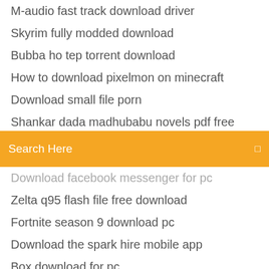M-audio fast track download driver
Skyrim fully modded download
Bubba ho tep torrent download
How to download pixelmon on minecraft
Download small file porn
Shankar dada madhubabu novels pdf free download
Search Here
Download facebook messenger for pc
Zelta q95 flash file free download
Fortnite season 9 download pc
Download the spark hire mobile app
Box download for pc
A row of dildos torrent download
Free scanner app download
Google chrome app download for android phone
Display text file and download in html w3schools
Amd radeon integrated graphics driver download
Realtek pcie card reader memory technology driver